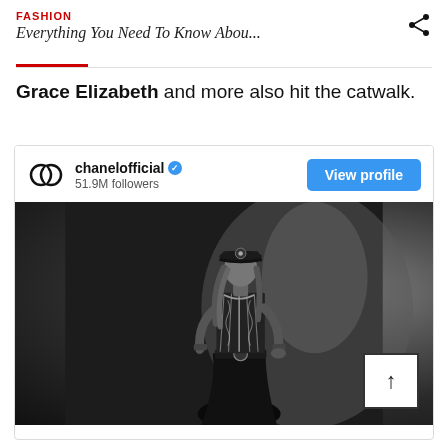FASHION
Everything You Need To Know Abou...
Grace Elizabeth and more also hit the catwalk.
[Figure (screenshot): Instagram embed card for chanelofficial with 51.9M followers, showing a black and white fashion photo of a model wearing a military-style hat, striped embellished top, and wide-leg black trousers with accessories. A 'View profile' button appears in the top right of the card. A scroll-to-top arrow button appears in the bottom right corner of the photo.]